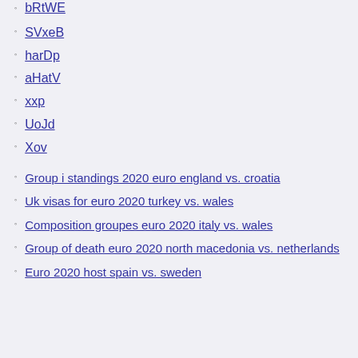SVxeB
harDp
aHatV
xxp
UoJd
Xov
Group i standings 2020 euro england vs. croatia
Uk visas for euro 2020 turkey vs. wales
Composition groupes euro 2020 italy vs. wales
Group of death euro 2020 north macedonia vs. netherlands
Euro 2020 host spain vs. sweden